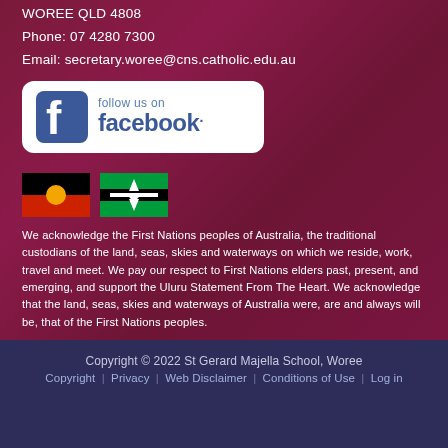WOREE QLD 4808
Phone: 07 4280 7300
Email: secretary.woree@cns.catholic.edu.au
[Figure (logo): Follow us on Facebook banner with Facebook logo icon and text 'follow us on facebook.']
[Figure (illustration): Aboriginal and Torres Strait Islander flags side by side]
We acknowledge the First Nations peoples of Australia, the traditional custodians of the land, seas, skies and waterways on which we reside, work, travel and meet. We pay our respect to First Nations elders past, present, and emerging, and support the Uluru Statement From The Heart. We acknowledge that the land, seas, skies and waterways of Australia were, are and always will be, that of the First Nations peoples.
Copyright © 2022 St Gerard Majella School, Woree | Copyright | Privacy | Web Disclaimer | Conditions of Use | Log in